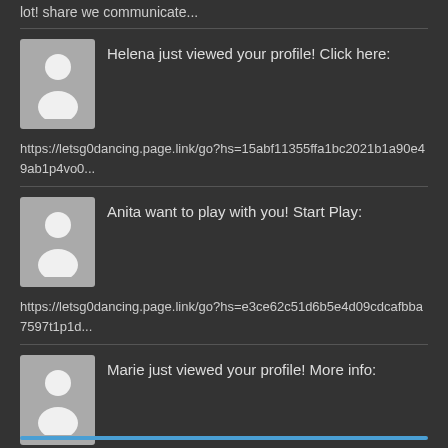lot! share we communicate...
[Figure (illustration): Generic user avatar placeholder icon]
Helena just viewed your profile! Click here:
https://letsg0dancing.page.link/go?hs=15abf11355ffa1bc2021b1a90e49ab1p4vo0...
[Figure (illustration): Generic user avatar placeholder icon]
Anita want to play with you! Start Play:
https://letsg0dancing.page.link/go?hs=e3ce62c51d6b5e4d09cdcafbba7597t1p1d...
[Figure (illustration): Generic user avatar placeholder icon]
Marie just viewed your profile! More info:
https://letsg0dancing.page.link/go?hs=95c78f3c3236ee729adf4cdac578bfpuk2nd...